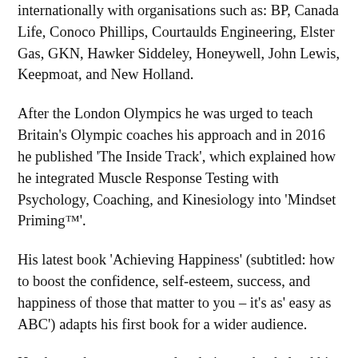internationally with organisations such as: BP, Canada Life, Conoco Phillips, Courtaulds Engineering, Elster Gas, GKN, Hawker Siddeley, Honeywell, John Lewis, Keepmoat, and New Holland.
After the London Olympics he was urged to teach Britain's Olympic coaches his approach and in 2016 he published 'The Inside Track', which explained how he integrated Muscle Response Testing with Psychology, Coaching, and Kinesiology into 'Mindset Priming™'.
His latest book 'Achieving Happiness' (subtitled: how to boost the confidence, self-esteem, success, and happiness of those that matter to you – it's as' easy as ABC') adapts his first book for a wider audience.
He shares the concepts and techniques that helped him to overcome his own self-imposed limitations and how to use the contents of his 'Mindset Priming™'...